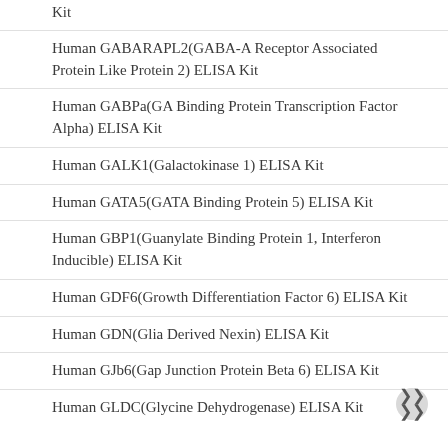Kit
Human GABARAPL2(GABA-A Receptor Associated Protein Like Protein 2) ELISA Kit
Human GABPa(GA Binding Protein Transcription Factor Alpha) ELISA Kit
Human GALK1(Galactokinase 1) ELISA Kit
Human GATA5(GATA Binding Protein 5) ELISA Kit
Human GBP1(Guanylate Binding Protein 1, Interferon Inducible) ELISA Kit
Human GDF6(Growth Differentiation Factor 6) ELISA Kit
Human GDN(Glia Derived Nexin) ELISA Kit
Human GJb6(Gap Junction Protein Beta 6) ELISA Kit
Human GLDC(Glycine Dehydrogenase) ELISA Kit